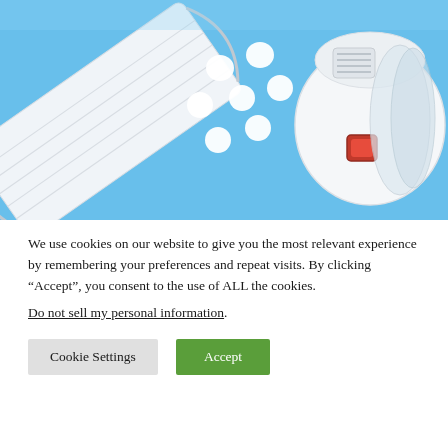[Figure (photo): Top-down view on a light blue background showing a flat surgical/medical face mask on the left, several white round pills/tablets scattered in the middle, and a white N95-style respirator mask with a red valve on the right, with additional face masks partially visible.]
We use cookies on our website to give you the most relevant experience by remembering your preferences and repeat visits. By clicking “Accept”, you consent to the use of ALL the cookies.
Do not sell my personal information.
Cookie Settings   Accept